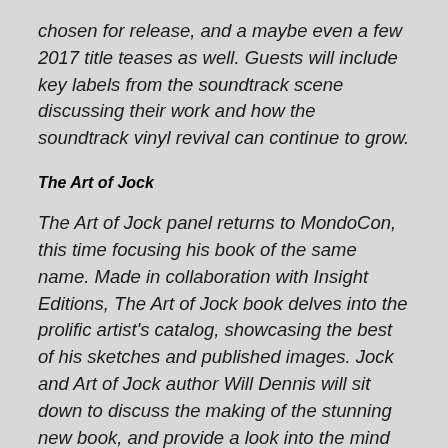chosen for release, and a maybe even a few 2017 title teases as well. Guests will include key labels from the soundtrack scene discussing their work and how the soundtrack vinyl revival can continue to grow.
The Art of Jock
The Art of Jock panel returns to MondoCon, this time focusing his book of the same name. Made in collaboration with Insight Editions, The Art of Jock book delves into the prolific artist's catalog, showcasing the best of his sketches and published images. Jock and Art of Jock author Will Dennis will sit down to discuss the making of the stunning new book, and provide a look into the mind and method of one of the most critically acclaimed illustrators